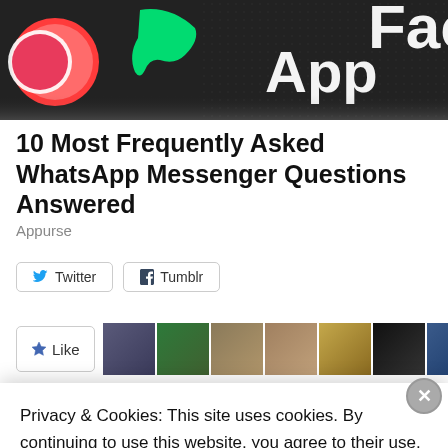[Figure (photo): Top portion of a smartphone screen showing app icons including WhatsApp and Facebook app icons on a dark background, with 'App' and 'Fac' text visible]
10 Most Frequently Asked WhatsApp Messenger Questions Answered
Appurse
[Figure (screenshot): Social share buttons: Twitter and Tumblr buttons]
[Figure (screenshot): Like button with star icon and a row of user avatar thumbnails]
Privacy & Cookies: This site uses cookies. By continuing to use this website, you agree to their use. To find out more, including how to control cookies, see here: Cookie Policy
Close and accept